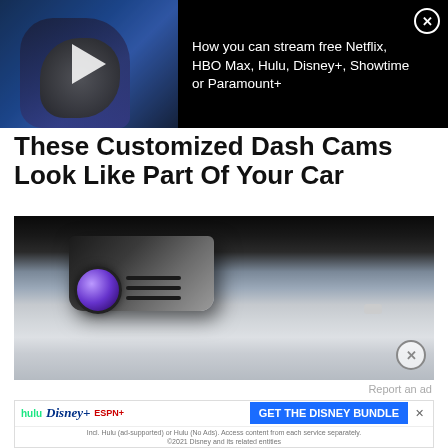[Figure (screenshot): Video ad banner showing a hand holding a TV remote with streaming service text overlay: 'How you can stream free Netflix, HBO Max, Hulu, Disney+, Showtime or Paramount+']
These Customized Dash Cams Look Like Part Of Your Car
[Figure (photo): Close-up photo of a customized dash cam mounted on a car dashboard interior, with a colorful lens and silver body]
Report an ad
[Figure (screenshot): Disney Bundle advertisement banner with Hulu, Disney+, and ESPN+ logos and 'GET THE DISNEY BUNDLE' call-to-action button. Fine print: 'Incl. Hulu (ad-supported) or Hulu (No Ads). Access content from each service separately. ©2021 Disney and its related entities']